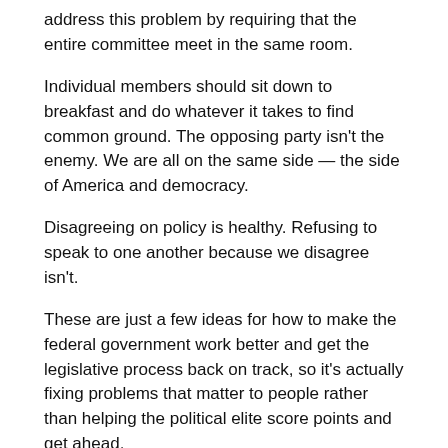address this problem by requiring that the entire committee meet in the same room.
Individual members should sit down to breakfast and do whatever it takes to find common ground. The opposing party isn't the enemy. We are all on the same side — the side of America and democracy.
Disagreeing on policy is healthy. Refusing to speak to one another because we disagree isn't.
These are just a few ideas for how to make the federal government work better and get the legislative process back on track, so it's actually fixing problems that matter to people rather than helping the political elite score points and get ahead.
More On Fulcrum
Hey, America: The Reforming Twenties Have Arrived - The Ful...